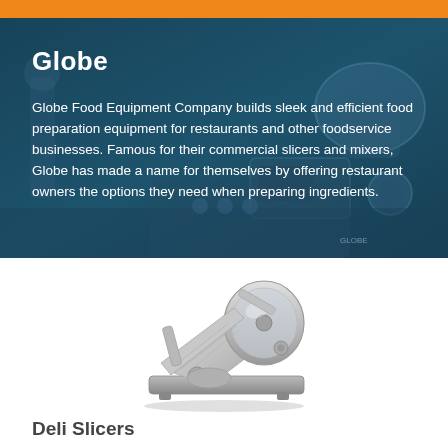[Figure (illustration): Orange top bar decorative strip]
[Figure (photo): Hero banner with teal-blue overlay showing commercial kitchen equipment background. Contains Globe brand title and descriptive text.]
Globe
Globe Food Equipment Company builds sleek and efficient food preparation equipment for restaurants and other foodservice businesses. Famous for their commercial slicers and mixers, Globe has made a name for themselves by offering restaurant owners the options they need when preparing ingredients.
[Figure (photo): Commercial deli meat slicer machine, silver/chrome colored, shown at an angle on a white background]
Deli Slicers